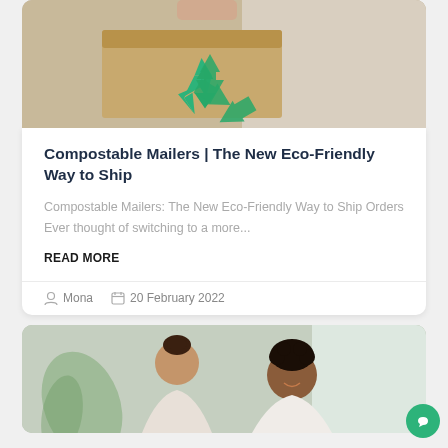[Figure (photo): Cardboard box with green recycling symbol, hands visible at top]
Compostable Mailers | The New Eco-Friendly Way to Ship
Compostable Mailers: The New Eco-Friendly Way to Ship Orders Ever thought of switching to a more...
READ MORE
Mona   20 February 2022
[Figure (photo): Two women looking at something together, plants in background]